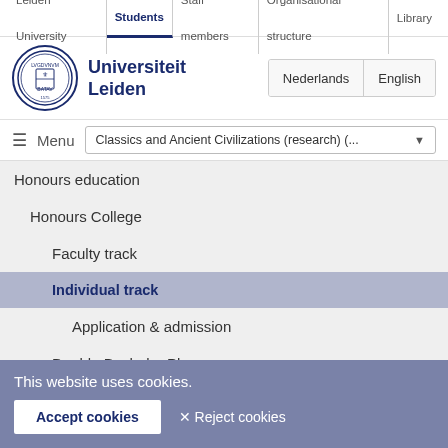Leiden University | Students | Staff members | Organisational structure | Library
[Figure (logo): Leiden University circular seal/logo]
Universiteit Leiden
Nederlands | English
≡ Menu | Classics and Ancient Civilizations (research) (...
Honours education
Honours College
Faculty track
Individual track
Application & admission
Double Bachelor Plus
Certificate
Bachelor Honours Classes
This website uses cookies.
Accept cookies   ✕ Reject cookies